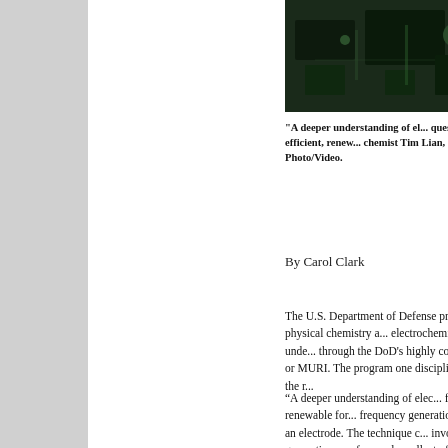[Figure (photo): Laboratory photo showing scientific equipment against dark background]
"A deeper understanding of el... quest for more efficient, renew... chemist Tim Lian, shown in hi... Photo/Video.
By Carol Clark
The U.S. Department of Defense professor of physical chemistry a... electrochemical processes unde... through the DoD's highly compe... Initiative, or MURI. The program one discipline to accelerate the r...
“A deeper understanding of elec... for more efficient, renewable for... frequency generation spectrosc... of an electrode. The technique c... involved in energy generation, c... from solar cells, to fuel cells and...